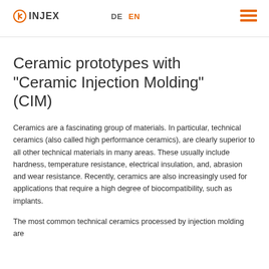INJEX | DE | EN
Ceramic prototypes with "Ceramic Injection Molding" (CIM)
Ceramics are a fascinating group of materials. In particular, technical ceramics (also called high performance ceramics), are clearly superior to all other technical materials in many areas. These usually include hardness, temperature resistance, electrical insulation, and, abrasion and wear resistance. Recently, ceramics are also increasingly used for applications that require a high degree of biocompatibility, such as implants.
The most common technical ceramics processed by injection molding are